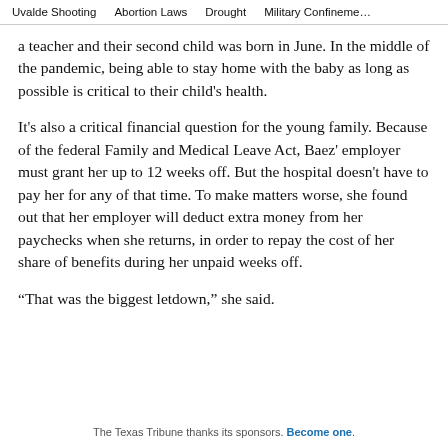Uvalde Shooting   Abortion Laws   Drought   Military Confinement
a teacher and their second child was born in June. In the middle of the pandemic, being able to stay home with the baby as long as possible is critical to their child's health.
It's also a critical financial question for the young family. Because of the federal Family and Medical Leave Act, Baez' employer must grant her up to 12 weeks off. But the hospital doesn't have to pay her for any of that time. To make matters worse, she found out that her employer will deduct extra money from her paychecks when she returns, in order to repay the cost of her share of benefits during her unpaid weeks off.
“That was the biggest letdown,” she said.
The Texas Tribune thanks its sponsors. Become one.